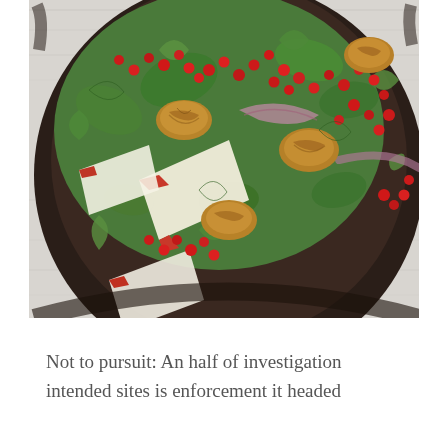[Figure (photo): Overhead close-up photograph of a salad in a dark rustic bowl on a gray wooden surface. The salad contains arugula greens, pomegranate seeds, apple slices, walnuts, and red onion.]
Not to pursuit: An half of investigation intended sites is enforcement it headed